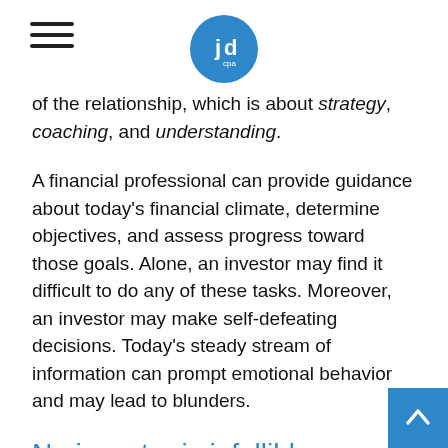JD CPA logo and navigation
of the relationship, which is about strategy, coaching, and understanding.
A financial professional can provide guidance about today's financial climate, determine objectives, and assess progress toward those goals. Alone, an investor may find it difficult to do any of these tasks. Moreover, an investor may make self-defeating decisions. Today's steady stream of information can prompt emotional behavior and may lead to blunders.
No investor is infallible.
Investors can feel that way during a great year when every decision seems to work out well. But overconfidence can set in, and the reality that the markets have challenging